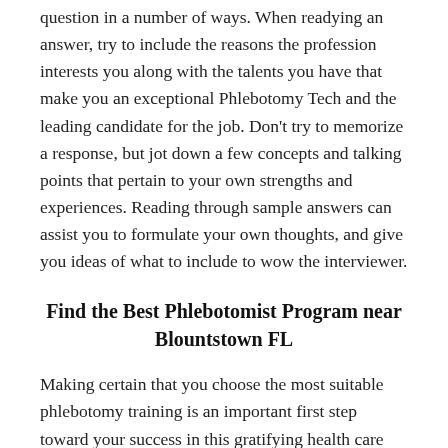question in a number of ways. When readying an answer, try to include the reasons the profession interests you along with the talents you have that make you an exceptional Phlebotomy Tech and the leading candidate for the job. Don't try to memorize a response, but jot down a few concepts and talking points that pertain to your own strengths and experiences. Reading through sample answers can assist you to formulate your own thoughts, and give you ideas of what to include to wow the interviewer.
Find the Best Phlebotomist Program near Blountstown FL
Making certain that you choose the most suitable phlebotomy training is an important first step toward your success in this gratifying health care career position. As we have covered in this article, there are multiple factors that go into the selection of a superior school. Phlebotomy certificate